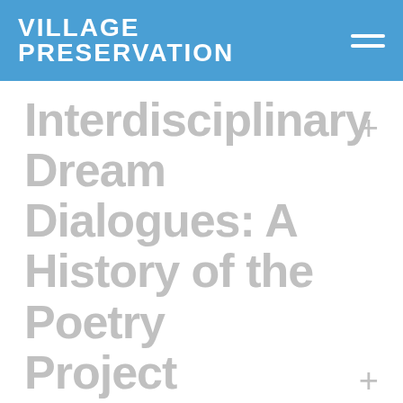VILLAGE PRESERVATION
Interdisciplinary Dream Dialogues: A History of the Poetry Project